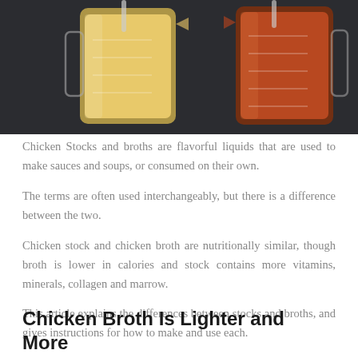[Figure (photo): Two glass measuring cups on a dark surface. The left cup contains a pale yellow liquid (chicken stock) and the right cup contains a darker orange-brown liquid (chicken broth). Both cups have measurement markings visible on the glass.]
Chicken Stocks and broths are flavorful liquids that are used to make sauces and soups, or consumed on their own.
The terms are often used interchangeably, but there is a difference between the two.
Chicken stock and chicken broth are nutritionally similar, though broth is lower in calories and stock contains more vitamins, minerals, collagen and marrow.
This article explains the differences between stocks and broths, and gives instructions for how to make and use each.
Chicken Broth Is Lighter and More